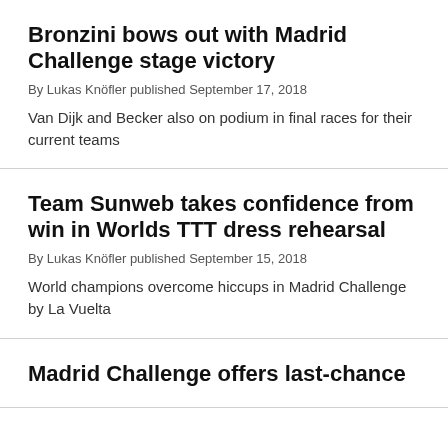Bronzini bows out with Madrid Challenge stage victory
By Lukas Knöfler published September 17, 2018
Van Dijk and Becker also on podium in final races for their current teams
Team Sunweb takes confidence from win in Worlds TTT dress rehearsal
By Lukas Knöfler published September 15, 2018
World champions overcome hiccups in Madrid Challenge by La Vuelta
Madrid Challenge offers last-chance